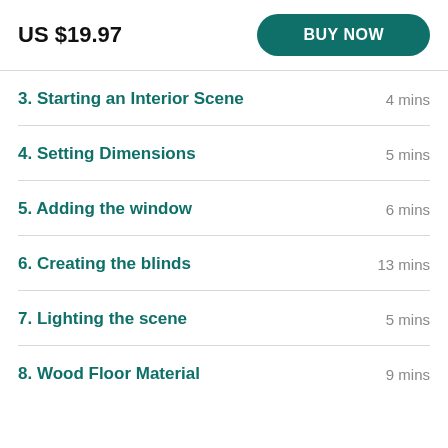US $19.97
BUY NOW
3. Starting an Interior Scene — 4 mins
4. Setting Dimensions — 5 mins
5. Adding the window — 6 mins
6. Creating the blinds — 13 mins
7. Lighting the scene — 5 mins
8. Wood Floor Material — 9 mins